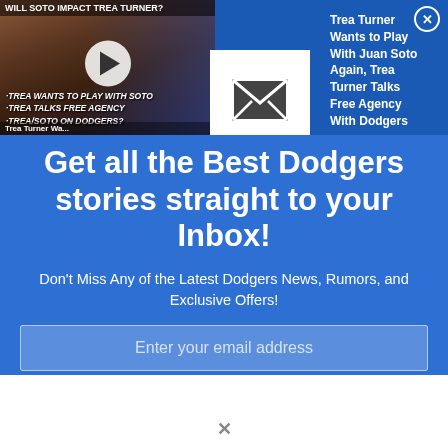[Figure (screenshot): Video thumbnail showing baseball players with overlay text bullets about Trea Turner and Soto, with play button]
Trea Turner Wa...
·TREA WANTS TO PLAY WITH SOTO
·TREA TALKS FREE AGENCY
·TREA/SOTO ON DODGERS?
[Figure (illustration): White envelope email icon on white background square]
Trea Turner Wants to Play With Juan Soto Again, Trea Turner Talks Free Agency With Dodgers
Get all the Best Dodgers stories straight to your Inbox!
Don't Miss Any of the Latest Dodgers News, Rumors, and Exclusive Offers!
Enter your email address
SIGN UP! IT'S FREE!
We will NEVER share your email with anyone!